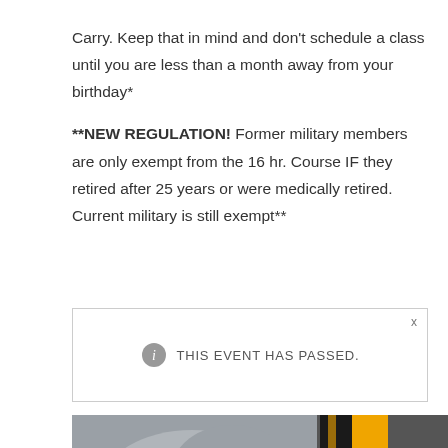Carry. Keep that in mind and don't schedule a class until you are less than a month away from your birthday*

**NEW REGULATION! Former military members are only exempt from the 16 hr. Course IF they retired after 25 years or were medically retired. Current military is still exempt**
[Figure (screenshot): A notification box with an info icon and the text 'THIS EVENT HAS PASSED.' with a close (x) button in the top right corner.]
[Figure (photo): A person wearing a grey long-sleeve shirt with a Maryland state flag in the background, partially visible. A blue scroll-up button and a dark red plus icon are overlaid on the image.]